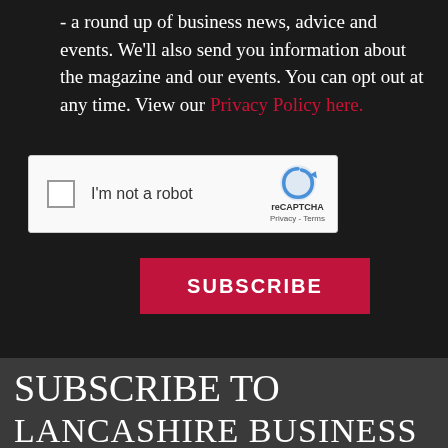- a round up of business news, advice and events. We'll also send you information about the magazine and our events. You can opt out at any time. View our Privacy Policy here.
[Figure (other): reCAPTCHA widget with checkbox labeled 'I'm not a robot', reCAPTCHA logo, Privacy and Terms links]
SUBSCRIBE
SUBSCRIBE TO
LANCASHIRE BUSINESS VIEW